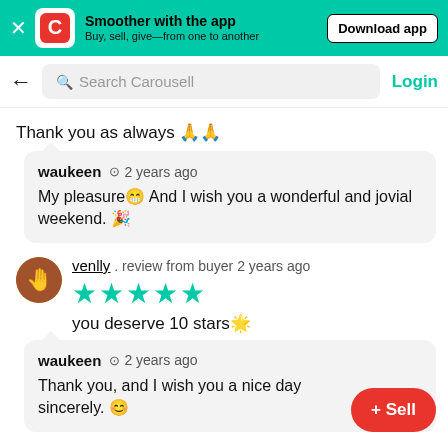Smoother with the app — Buy, sell, give—from one to another — Download app
Search Carousell — Login
Thank you as always 🙏🙏
waukeen  2 years ago
My pleasure😁 And I wish you a wonderful and jovial weekend. 🎉
venlly . review from buyer 2 years ago
★★★★★
you deserve 10 stars🌟
waukeen  2 years ago
Thank you, and I wish you a nice day sincerely. 😊